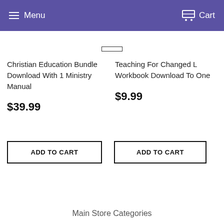Menu   Cart
Christian Education Bundle Download With 1 Ministry Manual
$39.99
ADD TO CART
Teaching For Changed L Workbook Download To One
$9.99
ADD TO CART
Main Store Categories